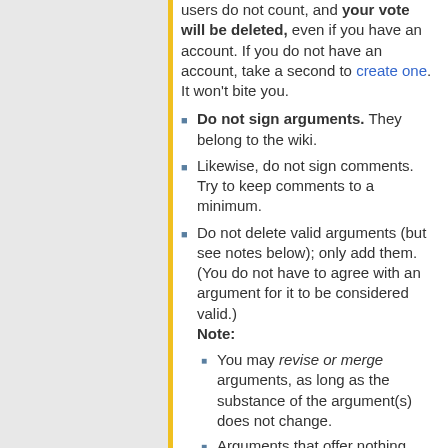users do not count, and your vote will be deleted, even if you have an account. If you do not have an account, take a second to create one. It won't bite you.
Do not sign arguments. They belong to the wiki.
Likewise, do not sign comments. Try to keep comments to a minimum.
Do not delete valid arguments (but see notes below); only add them. (You do not have to agree with an argument for it to be considered valid.) Note: You may revise or merge arguments, as long as the substance of the argument(s) does not change. Arguments that offer nothing new (ones that merely second someone else's thought) should be merged or removed.